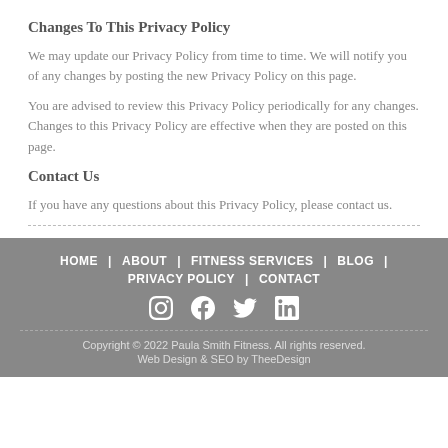Changes To This Privacy Policy
We may update our Privacy Policy from time to time. We will notify you of any changes by posting the new Privacy Policy on this page.
You are advised to review this Privacy Policy periodically for any changes. Changes to this Privacy Policy are effective when they are posted on this page.
Contact Us
If you have any questions about this Privacy Policy, please contact us.
HOME  ABOUT  FITNESS SERVICES  BLOG  PRIVACY POLICY  CONTACT
[Instagram] [Facebook] [Twitter] [LinkedIn]
Copyright © 2022 Paula Smith Fitness. All rights reserved.
Web Design & SEO by TheeDesign